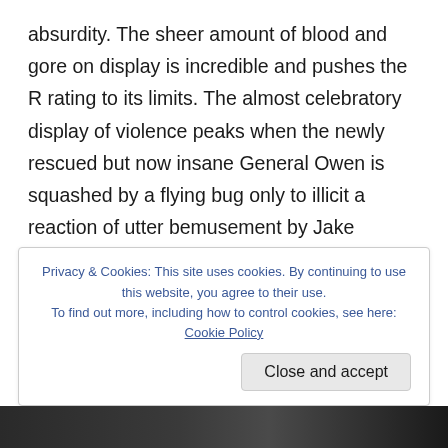absurdity. The sheer amount of blood and gore on display is incredible and pushes the R rating to its limits. The almost celebratory display of violence peaks when the newly rescued but now insane General Owen is squashed by a flying bug only to illicit a reaction of utter bemusement by Jake Busey's Ace Levy. This is either a moment of clever and conscious fourth wall breaking comic genius that you'll embrace or simply disregard if you haven't bought into the wildly subversive tone that Verhoeven is aiming for. Maybe it's an indicator of my own twisted sense of humour that way back in 1997 when sat in the cinema it was at this
Privacy & Cookies: This site uses cookies. By continuing to use this website, you agree to their use.
To find out more, including how to control cookies, see here: Cookie Policy
Close and accept
[Figure (photo): Bottom strip of a photograph, partially visible, showing dark figures or scene.]